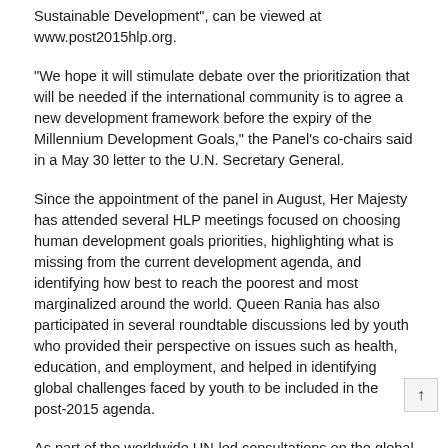Sustainable Development", can be viewed at www.post2015hlp.org.
“We hope it will stimulate debate over the prioritization that will be needed if the international community is to agree a new development framework before the expiry of the Millennium Development Goals,” the Panel’s co-chairs said in a May 30 letter to the U.N. Secretary General.
Since the appointment of the panel in August, Her Majesty has attended several HLP meetings focused on choosing human development goals priorities, highlighting what is missing from the current development agenda, and identifying how best to reach the poorest and most marginalized around the world. Queen Rania has also participated in several roundtable discussions led by youth who provided their perspective on issues such as health, education, and employment, and helped in identifying global challenges faced by youth to be included in the post-2015 agenda.
As part of the worldwide UN-led consultations on the global development agenda beyond 2015, Queen Rania attended several workshops and forums held in Jordan. Outcomes of each event were